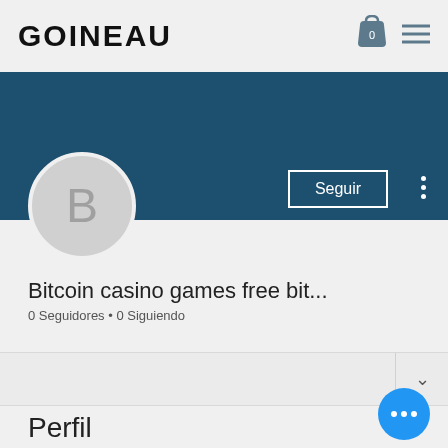GOINEAU
[Figure (screenshot): Blue profile banner background]
[Figure (illustration): Circular avatar with letter B]
Seguir
Bitcoin casino games free bit...
0 Seguidores • 0 Siguiendo
Perfil
Fecha de registro: 13 may 2022